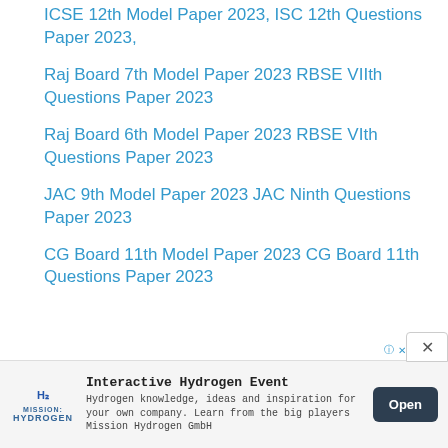ICSE 12th Model Paper 2023, ISC 12th Questions Paper 2023,
Raj Board 7th Model Paper 2023 RBSE VIIth Questions Paper 2023
Raj Board 6th Model Paper 2023 RBSE VIth Questions Paper 2023
JAC 9th Model Paper 2023 JAC Ninth Questions Paper 2023
CG Board 11th Model Paper 2023 CG Board 11th Questions Paper 2023
[Figure (infographic): Advertisement banner for Interactive Hydrogen Event by Mission Hydrogen GmbH with Open button]